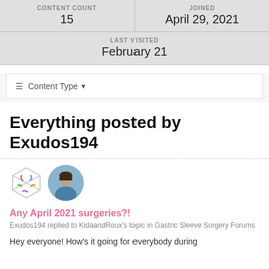| CONTENT COUNT | JOINED |
| --- | --- |
| 15 | April 29, 2021 |
| LAST VISITED |
| --- |
| February 21 |
[Figure (other): Content Type dropdown filter bar with hamburger menu icon]
Everything posted by Exudos194
[Figure (other): Two avatars side by side: a hexagonal symbol/icon avatar and a round profile photo of a person]
Any April 2021 surgeries?!
Exudos194 replied to KidaandRoux's topic in Gastric Sleeve Surgery Forums
Hey everyone! How's it going for everybody during